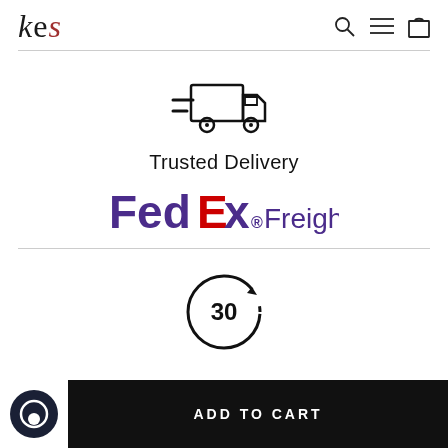kes
[Figure (illustration): Delivery truck icon with speed lines]
Trusted Delivery
[Figure (logo): FedEx Freight logo]
[Figure (illustration): 30-day return circular arrow icon]
ADD TO CART